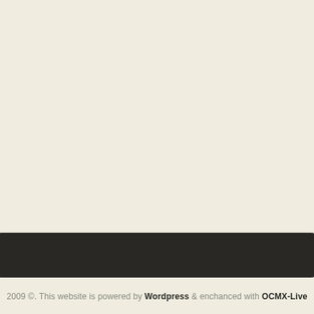2009 ©. This website is powered by Wordpress & enchanced with OCMX-Live